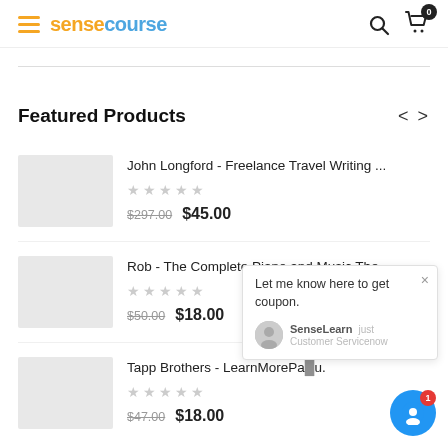sensecourse
Featured Products
John Longford - Freelance Travel Writing ... ☆☆☆☆☆ $297.00 $45.00
Rob - The Complete Piano and Music The... ☆☆☆☆☆ $50.00 $18.00
Tapp Brothers - LearnMorePa... ☆☆☆☆☆ $47.00 $18.00
Let me know here to get coupon. SenseLearn just Customer Service now